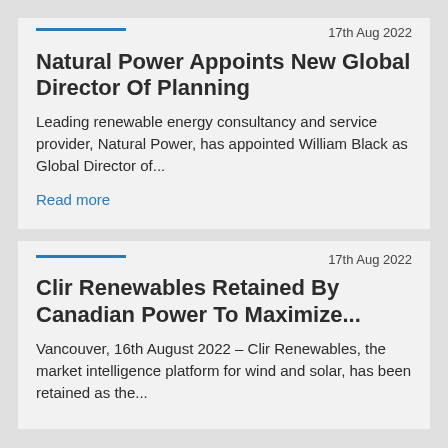17th Aug 2022
Natural Power Appoints New Global Director Of Planning
Leading renewable energy consultancy and service provider, Natural Power, has appointed William Black as Global Director of...
Read more
17th Aug 2022
Clir Renewables Retained By Canadian Power To Maximize...
Vancouver, 16th August 2022 – Clir Renewables, the market intelligence platform for wind and solar, has been retained as the...